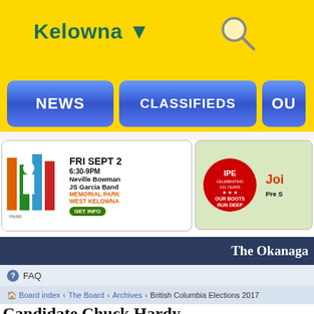Kelowna ▼
[Figure (screenshot): Navigation buttons: NEWS, CLASSIFIEDS, OU(T)]
[Figure (infographic): Music in the Park ad: FRI SEPT 2, 6:30-9PM, Neville Bowman, JS Garcia Band, MEMORIAL PARK, WEST KELOWNA, GET INFO]
[Figure (infographic): IPE Celebrating 121 Years - Our Boots Run Deep ad with red truck and pumpkins]
The Okanaga
FAQ
Board index › The Board › Archives › British Columbia Elections 2017
Candidate Chuck Hardy